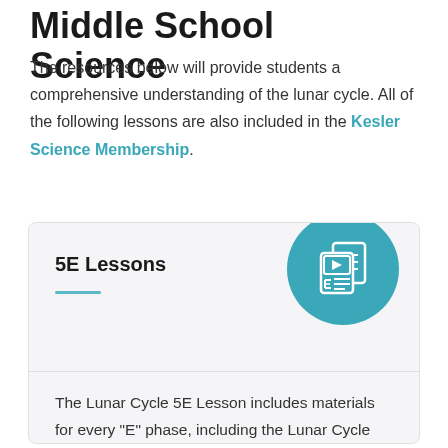Middle School Science
The resources below will provide students a comprehensive understanding of the lunar cycle. All of the following lessons are also included in the Kesler Science Membership.
5E Lessons
The Lunar Cycle 5E Lesson includes materials for every "E" phase, including the Lunar Cycle Station Lab for Exploration and an interactive PowerPoint with digital